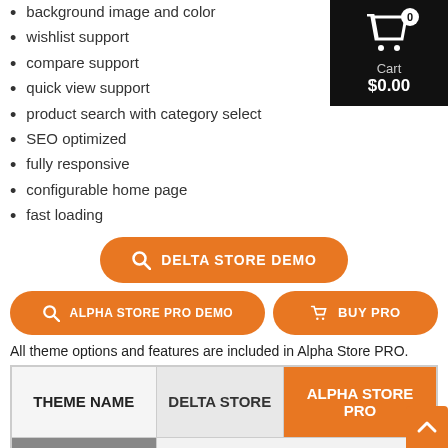background image and color
wishlist support
compare support
quick view support
product search with category select
SEO optimized
fully responsive
configurable home page
fast loading
[Figure (screenshot): Shopping cart widget showing Cart $0.00 with item count badge 0]
[Figure (screenshot): Orange button: DELTA STORE DEMO with magnifying glass icon]
[Figure (screenshot): Orange buttons: ALPHA STORE PRO DEMO and BUY PRO]
All theme options and features are included in Alpha Store PRO.
| THEME NAME | DELTA STORE | ALPHA STORE PRO |
| --- | --- | --- |
| WHY UPGRADE TO PRO? | Upgrade to PRO for these awesome features! |  |